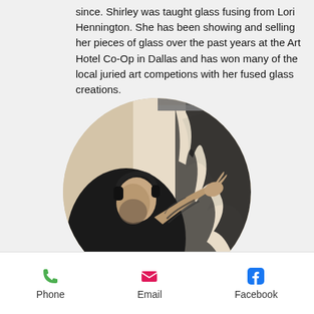since. Shirley was taught glass fusing from Lori Hennington. She has been showing and selling her pieces of glass over the past years at the Art Hotel Co-Op in Dallas and has won many of the local juried art competions with her fused glass creations.
[Figure (photo): Black and white circular photo of a bearded man wearing headphones, looking up while working on a large black and white painting, with a tattooed arm visible]
[Figure (other): Footer navigation bar with Phone (green phone icon), Email (pink envelope icon), and Facebook (blue Facebook icon) buttons]